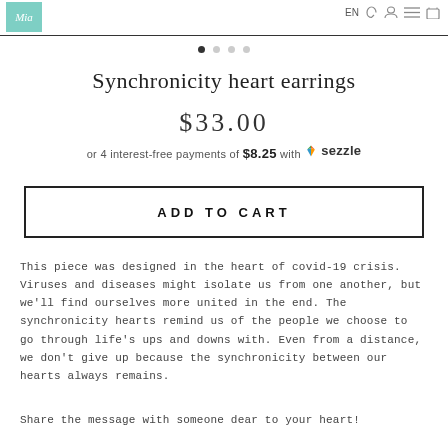Mia | EN | [wishlist] [search] [menu] [cart]
Synchronicity heart earrings
$33.00
or 4 interest-free payments of $8.25 with Sezzle
ADD TO CART
This piece was designed in the heart of covid-19 crisis. Viruses and diseases might isolate us from one another, but we'll find ourselves more united in the end. The synchronicity hearts remind us of the people we choose to go through life's ups and downs with. Even from a distance, we don't give up because the synchronicity between our hearts always remains.
Share the message with someone dear to your heart!